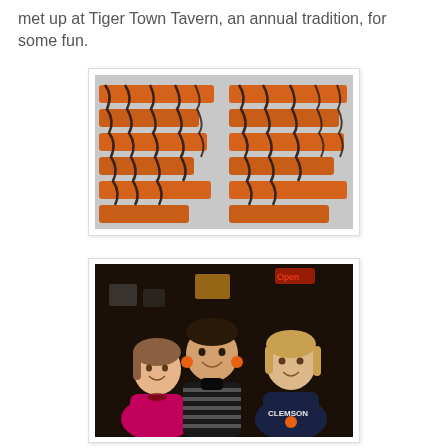met up at Tiger Town Tavern, an annual tradition, for some fun.
[Figure (photo): Orange and chocolate-drizzled pretzel sticks arranged in rows on a surface, decorated with dark chocolate in a tiger-stripe pattern.]
[Figure (photo): Three women smiling together inside a bar/tavern. One wears a pink top, the center woman wears a striped shirt with orange earrings, and the right woman wears a Clemson sweatshirt. A neon 'Open' sign is visible in the background.]